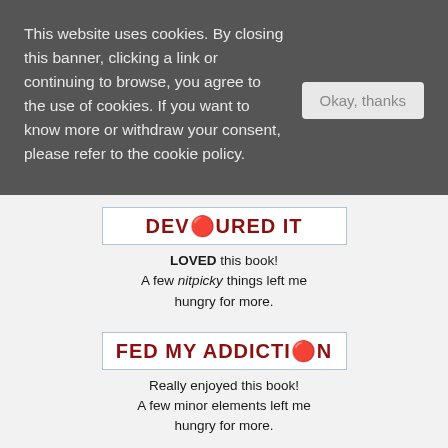This website uses cookies. By closing this banner, clicking a link or continuing to browse, you agree to the use of cookies. If you want to know more or withdraw your consent, please refer to the cookie policy.
Okay, thanks
DEVOURED IT
LOVED this book! A few nitpicky things left me hungry for more.
FED MY ADDICTION
Really enjoyed this book! A few minor elements left me hungry for more.
NOTE:
All books reviewed on my blog are books I'd recommend (they'd get four stars or more on Goodreads).